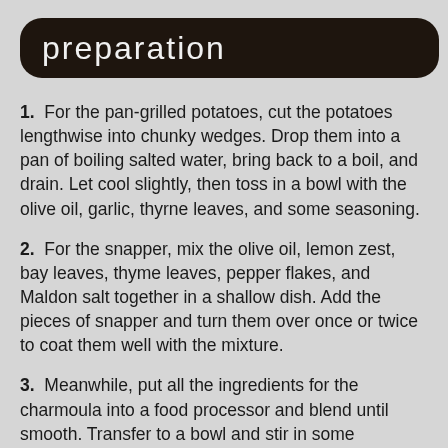preparation
1.  For the pan-grilled potatoes, cut the potatoes lengthwise into chunky wedges. Drop them into a pan of boiling salted water, bring back to a boil, and drain. Let cool slightly, then toss in a bowl with the olive oil, garlic, thyrne leaves, and some seasoning.
2.  For the snapper, mix the olive oil, lemon zest, bay leaves, thyme leaves, pepper flakes, and Maldon salt together in a shallow dish. Add the pieces of snapper and turn them over once or twice to coat them well with the mixture.
3.  Meanwhile, put all the ingredients for the charmoula into a food processor and blend until smooth. Transfer to a bowl and stir in some seasoning to taste.